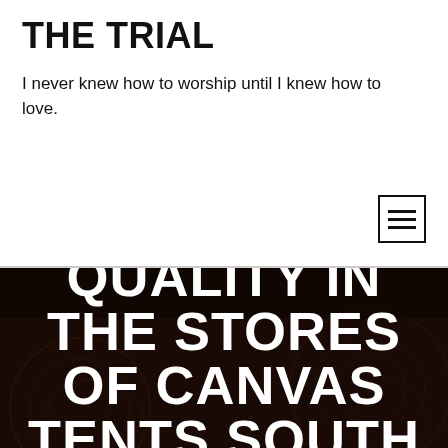THE TRIAL
I never knew how to worship until I knew how to love.
[Figure (other): Hamburger menu icon with three horizontal lines inside a square border]
[Figure (photo): Dark brown/black textured background with faint circular ornamental patterns, used as hero section background]
GET GLOBAL QUALITY IN THE STORES OF CANVAS TENTS SOUTH AFRICA